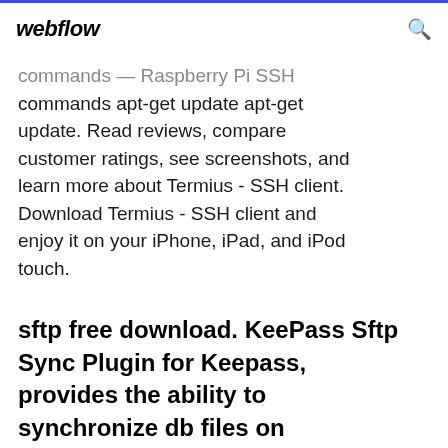webflow
commands — Raspberry Pi SSH commands apt-get update apt-get update. Read reviews, compare customer ratings, see screenshots, and learn more about Termius - SSH client. Download Termius - SSH client and enjoy it on your iPhone, iPad, and iPod touch.
sftp free download. KeePass Sftp Sync Plugin for Keepass, provides the ability to synchronize db files on protocols sftp and scr. Unlike